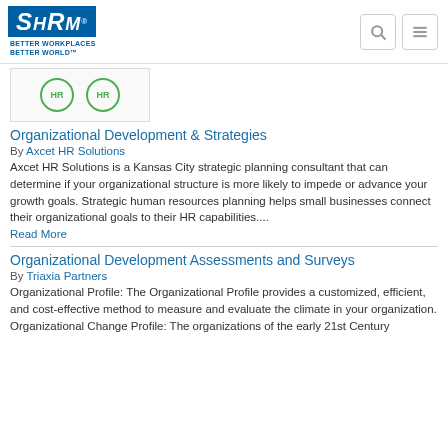SHRM - BETTER WORKPLACES BETTER WORLD
[Figure (logo): SHRM logo with tagline Better Workplaces Better World and two HR circular icons]
Organizational Development & Strategies
By Axcet HR Solutions
Axcet HR Solutions is a Kansas City strategic planning consultant that can determine if your organizational structure is more likely to impede or advance your growth goals. Strategic human resources planning helps small businesses connect their organizational goals to their HR capabilities....
Read More
Organizational Development Assessments and Surveys
By Triaxia Partners
Organizational Profile: The Organizational Profile provides a customized, efficient, and cost-effective method to measure and evaluate the climate in your organization. Organizational Change Profile: The organizations of the early 21st Century